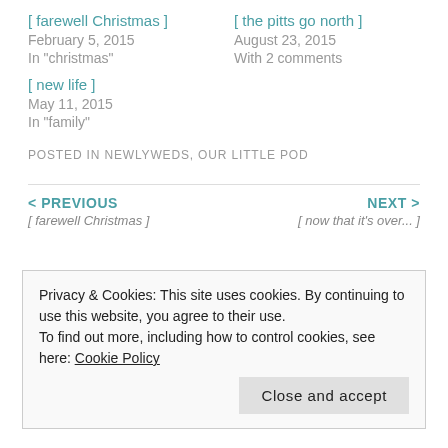[ farewell Christmas ]
February 5, 2015
In "christmas"
[ the pitts go north ]
August 23, 2015
With 2 comments
[ new life ]
May 11, 2015
In "family"
POSTED IN NEWLYWEDS, OUR LITTLE POD
< PREVIOUS
[ farewell Christmas ]
NEXT >
[ now that it's over... ]
Privacy & Cookies: This site uses cookies. By continuing to use this website, you agree to their use.
To find out more, including how to control cookies, see here: Cookie Policy
Close and accept